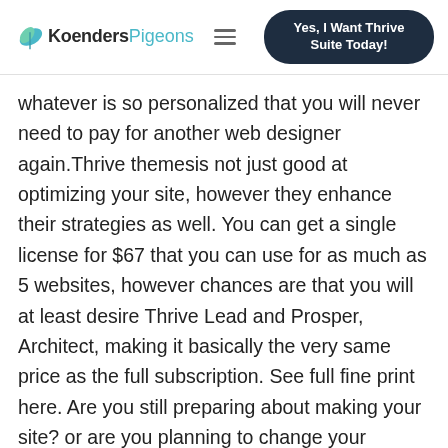KoendersPigeons — Yes, I Want Thrive Suite Today!
whatever is so personalized that you will never need to pay for another web designer again.Thrive themesis not just good at optimizing your site, however they enhance their strategies as well. You can get a single license for $67 that you can use for as much as 5 websites, however chances are that you will at least desire Thrive Lead and Prosper, Architect, making it basically the very same price as the full subscription. See full fine print here. Are you still preparing about making your site? or are you planning to change your hosting? You can utilize this discount coupon for Bluehost and get it for less than $3.00 per month!I had actually prepared to write pros and cons at the bottom, but my